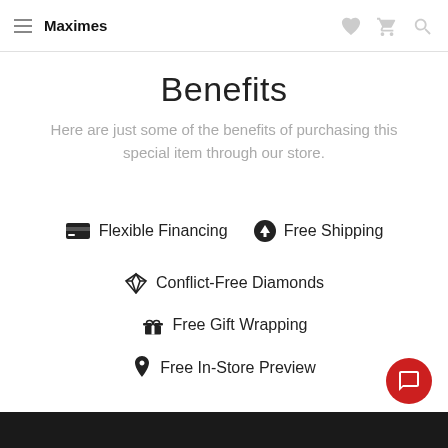Maximes
Benefits
Here are just some of the benefits of purchasing this special item through our store.
Flexible Financing
Free Shipping
Conflict-Free Diamonds
Free Gift Wrapping
Free In-Store Preview